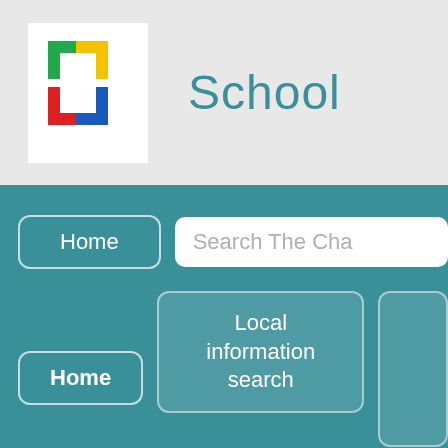[Figure (logo): Colorful cross/plus sign logo made of colored L-shapes in green, yellow, red, and blue on white background]
School
[Figure (screenshot): Navigation bar with Home button and Search The Cha... search box on teal background]
Home
Search The Cha
Home
Local information search